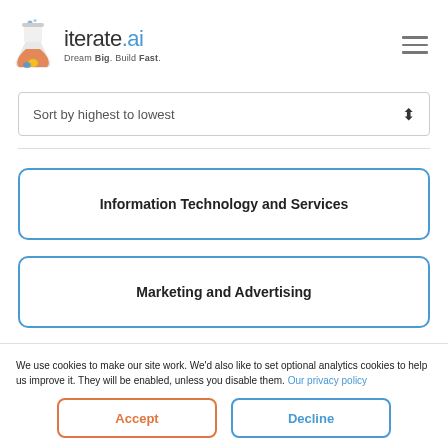[Figure (logo): iterate.ai logo with flask icon and tagline 'Dream Big. Build Fast.']
Sort by highest to lowest
Information Technology and Services
Marketing and Advertising
We use cookies to make our site work. We'd also like to set optional analytics cookies to help us improve it. They will be enabled, unless you disable them. Our privacy policy
Accept
Decline